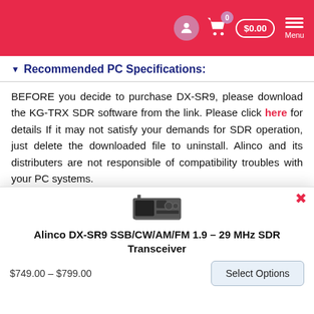Navigation bar with user icon, cart ($0.00), and Menu
Recommended PC Specifications:
BEFORE you decide to purchase DX-SR9, please download the KG-TRX SDR software from the link. Please click here for details If it may not satisfy your demands for SDR operation, just delete the downloaded file to uninstall. Alinco and its distributers are not responsible of compatibility troubles with your PC systems.
Alinco and ALINCO logo are registered trademarks of
[Figure (photo): Photo of Alinco DX-SR9 radio transceiver]
Alinco DX-SR9 SSB/CW/AM/FM 1.9 – 29 MHz SDR Transceiver
$749.00 – $799.00
Select Options